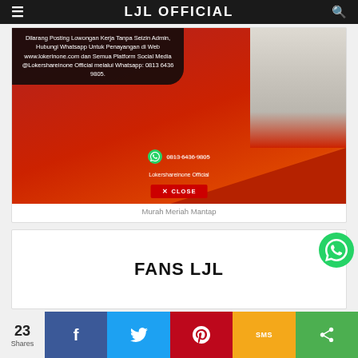LJL OFFICIAL
[Figure (screenshot): Advertisement banner with dark overlay text reading 'Dilarang Posting Lowongan Kerja Tanpa Seizin Admin, Hubungi Whatsapp Untuk Penayangan di Web www.lokerinone.com dan Semua Platform Social Media @Lokershareinone Official melalui Whatsapp: 0813 6436 9805.' with WhatsApp icon, phone number, Lokershareinone Official label, and a red CLOSE button at the bottom.]
Murah Meriah Mantap
FANS LJL
23 Shares
Facebook share, Twitter share, Pinterest share, SMS share, Share